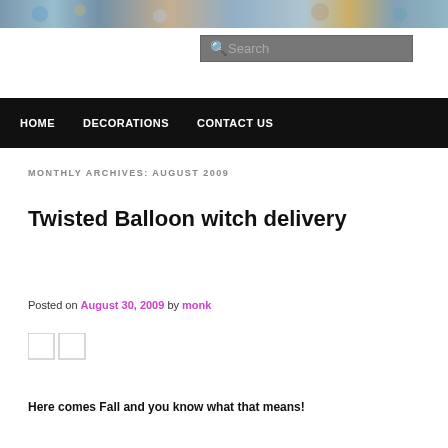[Figure (photo): Horizontal banner image strip showing colorful balloon decorations and festive items]
[Figure (screenshot): Search box with magnifying glass icon and placeholder text 'Search']
HOME    DECORATIONS    CONTACT US
MONTHLY ARCHIVES: AUGUST 2009
Twisted Balloon witch delivery
Posted on August 30, 2009 by monk
[Figure (illustration): Two small image placeholder boxes]
Here comes Fall and you know what that means!